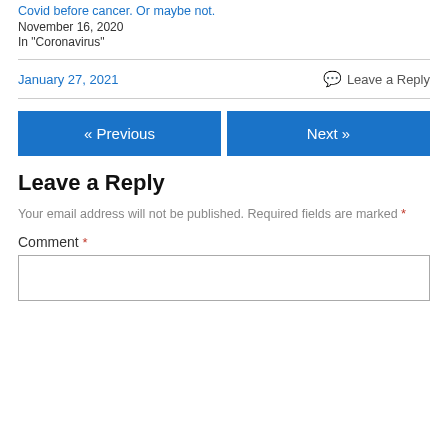Covid before cancer. Or maybe not.
November 16, 2020
In "Coronavirus"
January 27, 2021    Leave a Reply
« Previous
Next »
Leave a Reply
Your email address will not be published. Required fields are marked *
Comment *